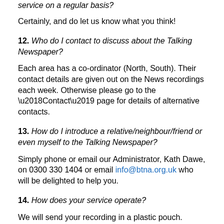service on a regular basis?
Certainly, and do let us know what you think!
12. Who do I contact to discuss about the Talking Newspaper?
Each area has a co-ordinator (North, South). Their contact details are given out on the News recordings each week. Otherwise please go to the ‘Contact’ page for details of alternative contacts.
13. How do I introduce a relative/neighbour/friend or even myself to the Talking Newspaper?
Simply phone or email our Administrator, Kath Dawe, on 0300 330 1404 or email info@btna.org.uk who will be delighted to help you.
14. How does your service operate?
We will send your recording in a plastic pouch. Simply reverse the address label on the pouch after listening to it